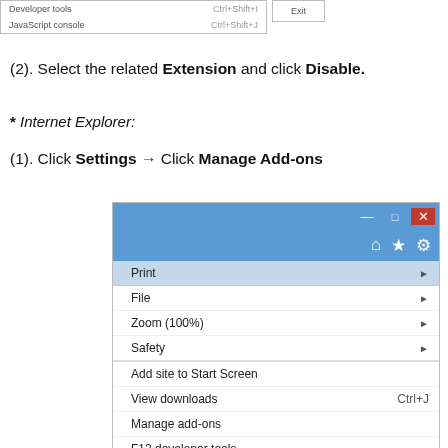[Figure (screenshot): Chrome browser menu showing Developer tools Ctrl+Shift+I and JavaScript console Ctrl+Shift+J, and an Exit option]
(2). Select the related Extension and click Disable.
* Internet Explorer:
(1). Click Settings → Click Manage Add-ons
[Figure (screenshot): Internet Explorer browser window showing a settings dropdown menu with options: Print, File, Zoom (100%), Safety, Add site to Start Screen, View downloads Ctrl+J, Manage add-ons, F12 developer tools, Go to pinned sites]